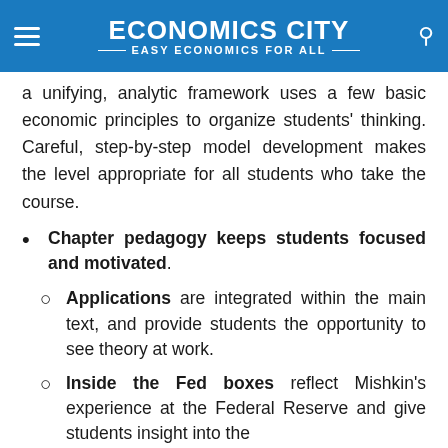ECONOMICS CITY — EASY ECONOMICS FOR ALL
a unifying, analytic framework uses a few basic economic principles to organize students' thinking. Careful, step-by-step model development makes the level appropriate for all students who take the course.
Chapter pedagogy keeps students focused and motivated.
Applications are integrated within the main text, and provide students the opportunity to see theory at work.
Inside the Fed boxes reflect Mishkin's experience at the Federal Reserve and give students insight into the